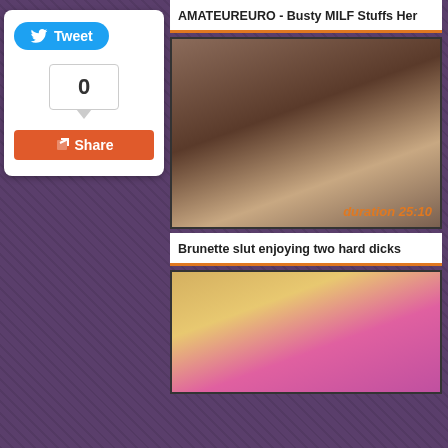AMATEUREURO - Busty MILF Stuffs Her
[Figure (photo): Video thumbnail showing a brunette woman with a man on a sofa, with duration overlay '25:10']
duration 25:10
Brunette slut enjoying two hard dicks
[Figure (photo): Video thumbnail showing a blonde woman in pink latex dress with stockings]
Tweet
0
Share